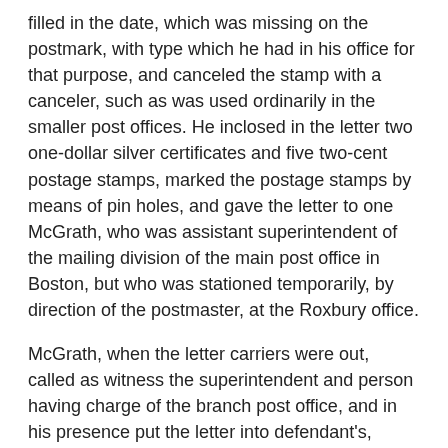filled in the date, which was missing on the postmark, with type which he had in his office for that purpose, and canceled the stamp with a canceler, such as was used ordinarily in the smaller post offices. He inclosed in the letter two one-dollar silver certificates and five two-cent postage stamps, marked the postage stamps by means of pin holes, and gave the letter to one McGrath, who was assistant superintendent of the mailing division of the main post office in Boston, but who was stationed temporarily, by direction of the postmaster, at the Roxbury office.
McGrath, when the letter carriers were out, called as witness the superintendent and person having charge of the branch post office, and in his presence put the letter into defendant's, Goode's, box. This was not the ordinary method of depositing the mail. Indeed, he passed by the places on the outside as well as the inside of the post office, where letters are usually mailed, and went into the back room,